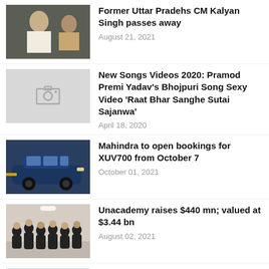Former Uttar Pradehs CM Kalyan Singh passes away
New Songs Videos 2020: Pramod Premi Yadav's Bhojpuri Song Sexy Video 'Raat Bhar Sanghe Sutai Sajanwa'
Mahindra to open bookings for XUV700 from October 7
Unacademy raises $440 mn; valued at $3.44 bn
With 830 deaths in 24 hrs, US toll